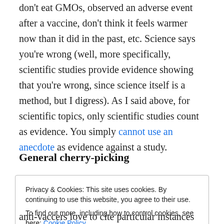don't eat GMOs, observed an adverse event after a vaccine, don't think it feels warmer now than it did in the past, etc. Science says you're wrong (well, more specifically, scientific studies provide evidence showing that you're wrong, since science itself is a method, but I digress). As I said above, for scientific topics, only scientific studies count as evidence. You simply cannot use an anecdote as evidence against a study.
General cherry-picking
Privacy & Cookies: This site uses cookies. By continuing to use this website, you agree to their use.
To find out more, including how to control cookies, see here: Cookie Policy
[Close and accept]
anti-vaccers love to cite particular instances when a